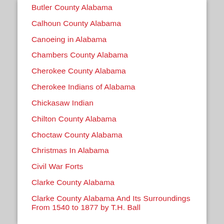Butler County Alabama
Calhoun County Alabama
Canoeing in Alabama
Chambers County Alabama
Cherokee County Alabama
Cherokee Indians of Alabama
Chickasaw Indian
Chilton County Alabama
Choctaw County Alabama
Christmas In Alabama
Civil War Forts
Clarke County Alabama
Clarke County Alabama And Its Surroundings From 1540 to 1877 by T.H. Ball